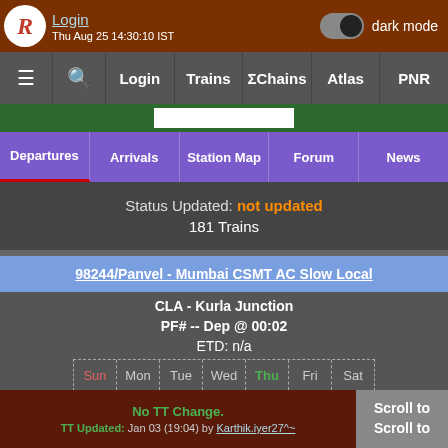Login | dark mode | Thu Aug 25 14:30:10 IST
≡ 🔍 Login | Trains | ΣChains | Atlas | PNR
Departures | Arrivals | Station Map | Forum | News
Status Updated: not updated
181 Trains
98244/Panvel - Mumbai CSMT AC Slow Local
CLA - Kurla Junction
PF# -- Dep @ 00:02
ETD: n/a
Sun Mon Tue Wed Thu Fri Sat
Going to CSMT - Chhatrapati Shivaji Maharaj Terminus
PF# -- Arr @ 00:32
II | FC
No TT Change.
TT Updated: Jan 03 (19:04) by Karthik.iyer27^~
Scroll to Scroll to